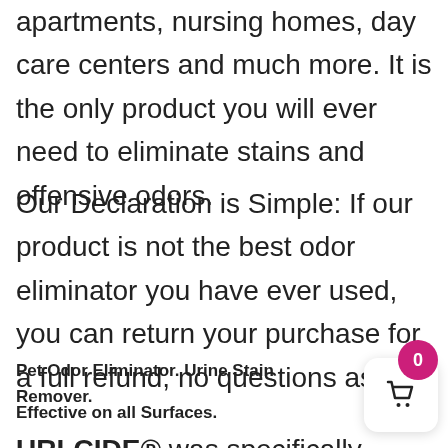apartments, nursing homes, day care centers and much more. It is the only product you will ever need to eliminate stains and offensive odors.
Our Declaration is Simple: If our product is not the best odor eliminator you have ever used, you can return your purchase for a full refund, no questions asked.
Pet Odor Eliminator. Urine Stain Remover. Effective on all Surfaces.
URLCIDE® was specifically